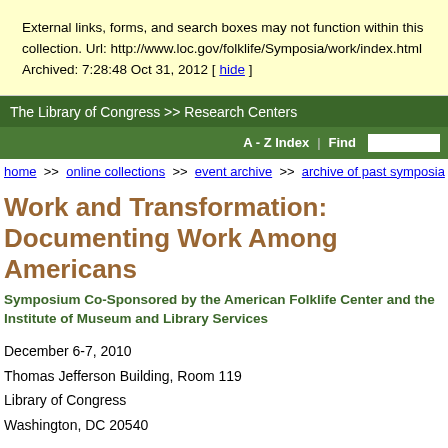External links, forms, and search boxes may not function within this collection. Url: http://www.loc.gov/folklife/Symposia/work/index.html Archived: 7:28:48 Oct 31, 2012 [ hide ]
The Library of Congress >> Research Centers
A - Z Index | Find
home >> online collections >> event archive >> archive of past symposia >>
Work and Transformation: Documenting Work Among Americans
Symposium Co-Sponsored by the American Folklife Center and the Institute of Museum and Library Services
December 6-7, 2010
Thomas Jefferson Building, Room 119
Library of Congress
Washington, DC 20540